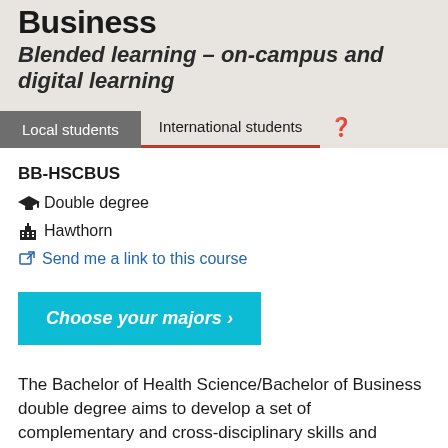Business
Blended learning – on-campus and digital learning
Local students   International students   ?
BB-HSCBUS
Double degree
Hawthorn
Send me a link to this course
Choose your majors >
The Bachelor of Health Science/Bachelor of Business double degree aims to develop a set of complementary and cross-disciplinary skills and